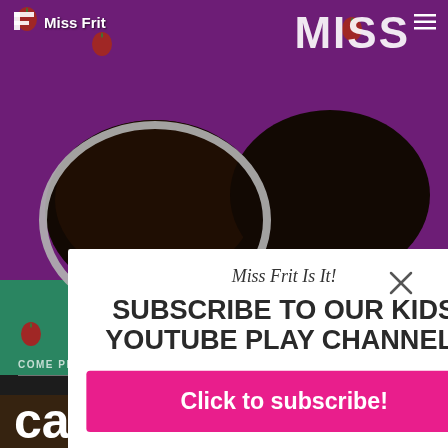[Figure (screenshot): Website screenshot of Miss Frit YouTube channel page with a pink/purple background with strawberry decorations, food images, and a popup subscription modal overlay]
Miss Frit
Miss Frit Is It!
SUBSCRIBE TO OUR KIDS YOUTUBE PLAY CHANNEL!
Click to subscribe!
COME PLAY WITH MISS FRIT EPISODES
cake For OLD Mis...